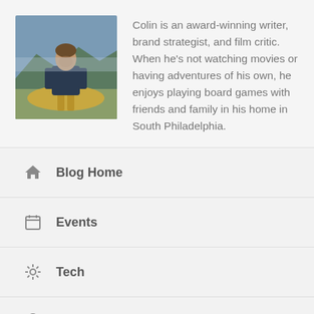[Figure (photo): Portrait photo of a man standing outdoors in a mountainous landscape, wearing a dark jacket and tan pants.]
Colin is an award-winning writer, brand strategist, and film critic. When he's not watching movies or having adventures of his own, he enjoys playing board games with friends and family in his home in South Philadelphia.
Blog Home
Events
Tech
On Set
Film Reviews
News